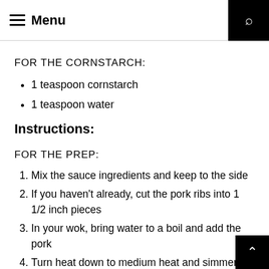Menu
FOR THE CORNSTARCH:
1 teaspoon cornstarch
1 teaspoon water
Instructions:
FOR THE PREP:
Mix the sauce ingredients and keep to the side
If you haven't already, cut the pork ribs into 1 1/2 inch pieces
In your wok, bring water to a boil and add the pork
Turn heat down to medium heat and simmer for 30